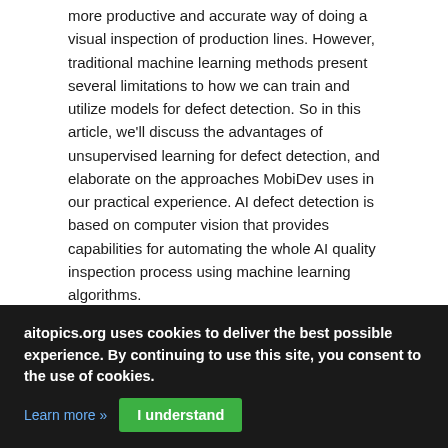more productive and accurate way of doing a visual inspection of production lines. However, traditional machine learning methods present several limitations to how we can train and utilize models for defect detection. So in this article, we'll discuss the advantages of unsupervised learning for defect detection, and elaborate on the approaches MobiDev uses in our practical experience. AI defect detection is based on computer vision that provides capabilities for automating the whole AI quality inspection process using machine learning algorithms.
[Figure (other): Twitter Tweet button (social share button with bird icon and 'Tweet' label)]
Unsupervised Learning in Space and Time (Advances in Computer Vision and Pattern
aitopics.org uses cookies to deliver the best possible experience. By continuing to use this site, you consent to the use of cookies.